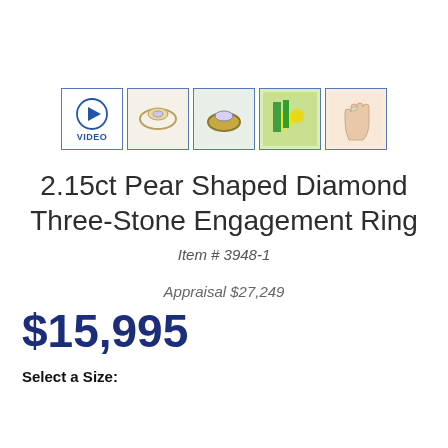[Figure (illustration): Row of five thumbnail images: a video play button thumbnail, two ring photos, a flowers photo, and a hand wearing the ring photo]
2.15ct Pear Shaped Diamond Three-Stone Engagement Ring
Item # 3948-1
Appraisal $27,249
$15,995
Select a Size: